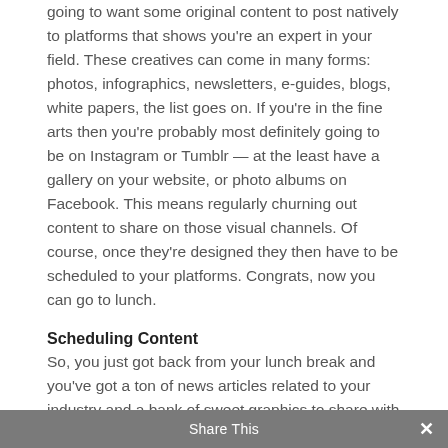going to want some original content to post natively to platforms that shows you're an expert in your field. These creatives can come in many forms: photos, infographics, newsletters, e-guides, blogs, white papers, the list goes on. If you're in the fine arts then you're probably most definitely going to be on Instagram or Tumblr — at the least have a gallery on your website, or photo albums on Facebook. This means regularly churning out content to share on those visual channels. Of course, once they're designed they then have to be scheduled to your platforms. Congrats, now you can go to lunch.
Scheduling Content
So, you just got back from your lunch break and you've got a ton of news articles related to your industry and a bank of sweet graphics to share with your loyal fans. Now you get to spend the next 3 hours buried deep in Hootsuite scheduling all those pieces of content
Share This ✕